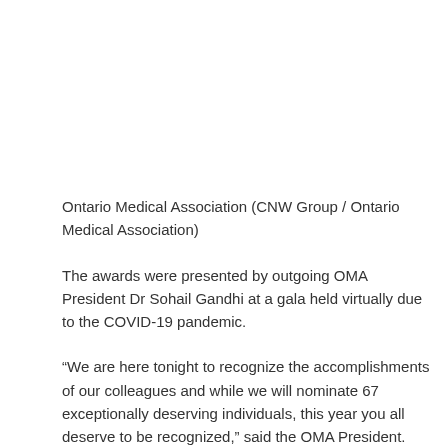Ontario Medical Association (CNW Group / Ontario Medical Association)
The awards were presented by outgoing OMA President Dr Sohail Gandhi at a gala held virtually due to the COVID-19 pandemic.
“We are here tonight to recognize the accomplishments of our colleagues and while we will nominate 67 exceptionally deserving individuals, this year you all deserve to be recognized,” said the OMA President. Samantha Hill, whose one-year term ends on Saturday. “I see you and I honor your resilience.”
A new Emerging Leader Award was presented for the first time to